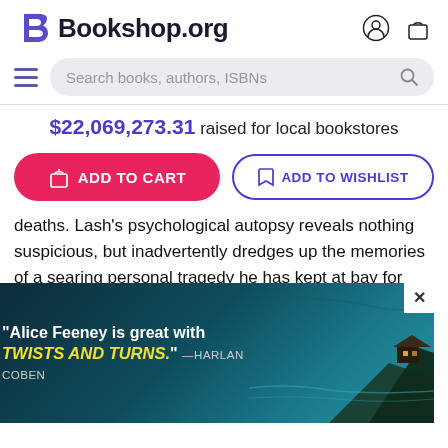Bookshop.org
Search books, authors, ISBNs
$22,069,273.31 raised for local bookstores
ADD TO CART
ADD TO WISHLIST
deaths. Lash's psychological autopsy reveals nothing suspicious, but inadvertently dredges up the memories of a searing personal tragedy he has kept at bay for years. The situation changes suddenly when a second Eden couple is found dead--by all appearances, another double suicide. Now Eden--particularly Richard Silver, the company... choice but to... t guarde... deter... he
[Figure (advertisement): Ad overlay with dark teal/ocean background, cliff and house illustration, text: '"Alice Feeney is great with TWISTS AND TURNS." —HARLAN COBEN' with close button X]